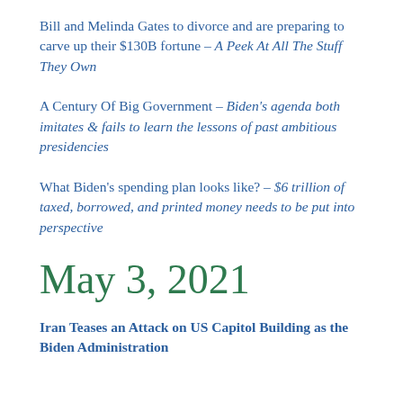Bill and Melinda Gates to divorce and are preparing to carve up their $130B fortune – A Peek At All The Stuff They Own
A Century Of Big Government – Biden's agenda both imitates & fails to learn the lessons of past ambitious presidencies
What Biden's spending plan looks like? – $6 trillion of taxed, borrowed, and printed money needs to be put into perspective
May 3, 2021
Iran Teases an Attack on US Capitol Building as the Biden Administration